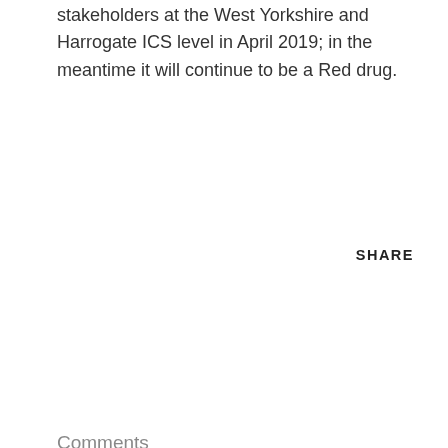stakeholders at the West Yorkshire and Harrogate ICS level in April 2019; in the meantime it will continue to be a Red drug.
SHARE
Comments
Post a Comment
Popular posts from this blog
[Figure (photo): Partial view of a blog post image with blue gradient background, possibly a medical or landscape photo]